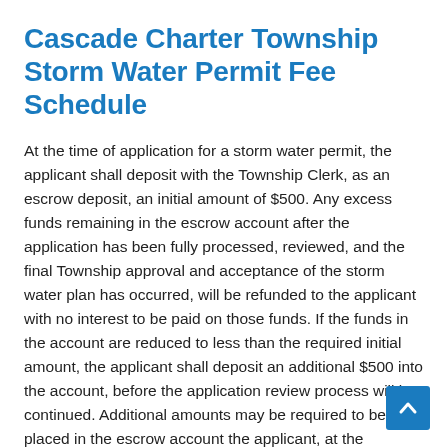Cascade Charter Township Storm Water Permit Fee Schedule
At the time of application for a storm water permit, the applicant shall deposit with the Township Clerk, as an escrow deposit, an initial amount of $500. Any excess funds remaining in the escrow account after the application has been fully processed, reviewed, and the final Township approval and acceptance of the storm water plan has occurred, will be refunded to the applicant with no interest to be paid on those funds. If the funds in the account are reduced to less than the required initial amount, the applicant shall deposit an additional $500 into the account, before the application review process will be continued. Additional amounts may be required to be placed in the escrow account the applicant, at the discretion of the Township.